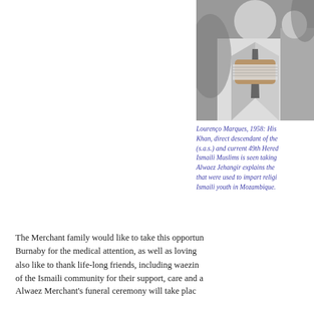[Figure (photo): Black and white photograph showing a person in a light-colored suit holding what appears to be documents or cards, with another person partially visible]
Lourenço Marques, 1958: His Khan, direct descendant of the (s.a.s.) and current 49th Hered Ismaili Muslims is seen taking Alwaez Jehangir explains the that were used to impart religi Ismaili youth in Mozambique.
The Merchant family would like to take this opportun Burnaby for the medical attention, as well as loving also like to thank life-long friends, including waezin of the Ismaili community for their support, care and a
Alwaez Merchant's funeral ceremony will take plac